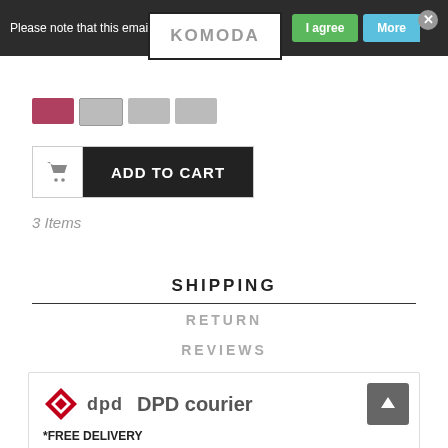Please note that this email the store uses cookies.
[Figure (screenshot): Cookie consent bar with 'I agree' green button and 'More' blue button and close X button]
[Figure (logo): KOMODA logo in outlined box]
[Figure (screenshot): Thumbnail swatches row: dark red and two grey squares]
[Figure (screenshot): Add to Cart button with shopping cart icon]
3 Items
SHIPPING
RETURN
REVIEWS
[Figure (infographic): DPD courier logo with diamond shape icon and DPD courier text and *FREE DELIVERY label, with scroll to top arrow button]